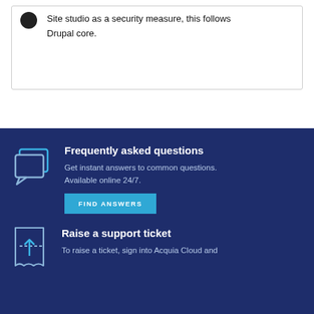HTML is escaped when using Drupal tokens in Site studio as a security measure, this follows Drupal core.
Frequently asked questions
Get instant answers to common questions. Available online 24/7.
FIND ANSWERS
Raise a support ticket
To raise a ticket, sign into Acquia Cloud and